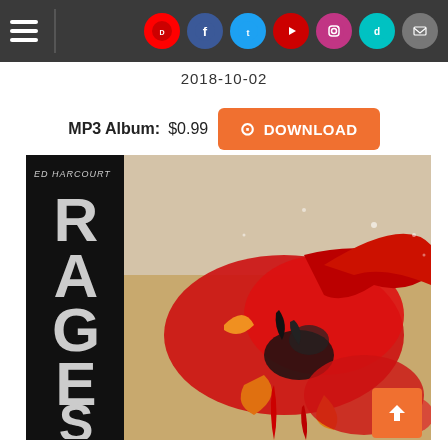Navigation bar with hamburger menu and social icons: Discogs, Facebook, Twitter, YouTube, Instagram, TikTok, Email
2018-10-02
MP3 Album: $0.99  DOWNLOAD
[Figure (photo): Ed Harcourt album cover art: black spine with 'ED HARCOURT' text and large distressed letters spelling 'RAGES' vertically, next to abstract expressionist painting in red, orange, black and yellow on beige background]